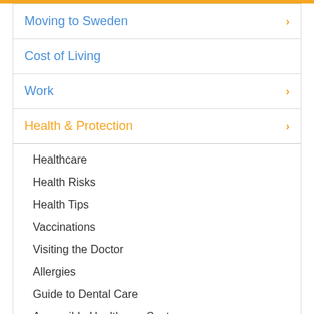Moving to Sweden
Cost of Living
Work
Health & Protection
Healthcare
Health Risks
Health Tips
Vaccinations
Visiting the Doctor
Allergies
Guide to Dental Care
Accessible Healthcare System
Services in Sweden